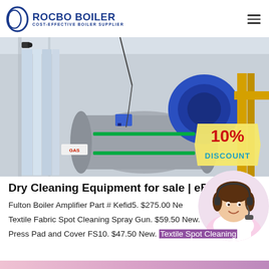[Figure (logo): Rocbo Boiler logo with circular icon and text 'ROCBO BOILER / COST-EFFECTIVE BOILER SUPPLIER' in navy blue]
[Figure (photo): Industrial boiler equipment in a warehouse/factory setting, showing large silver cylindrical boilers, blue mechanical components, yellow pipes. A 10% DISCOUNT badge overlaid at bottom right.]
Dry Cleaning Equipment for sale | eB
[Figure (photo): Customer service representative (woman with headset, smiling) shown as circular avatar on the right side]
Fulton Boiler Amplifier Part # Kefid5. $275.00 Ne
Textile Fabric Spot Cleaning Spray Gun. $59.50 New.
Press Pad and Cover FS10. $47.50 New. Textile Spot Cleaning